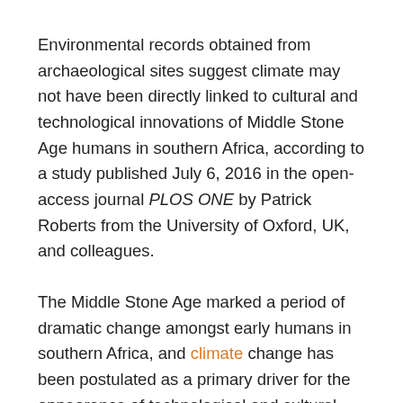Environmental records obtained from archaeological sites suggest climate may not have been directly linked to cultural and technological innovations of Middle Stone Age humans in southern Africa, according to a study published July 6, 2016 in the open-access journal PLOS ONE by Patrick Roberts from the University of Oxford, UK, and colleagues.
The Middle Stone Age marked a period of dramatic change amongst early humans in southern Africa, and climate change has been postulated as a primary driver for the appearance of technological and cultural innovations such as bone tools, ochre production, and personal ornamentation. While some researchers suggest that climate instability may have directly inspired technological advances, others postulate that environmental stability may have provided a stable setting that allowed for experimentation. However, the disconnection of